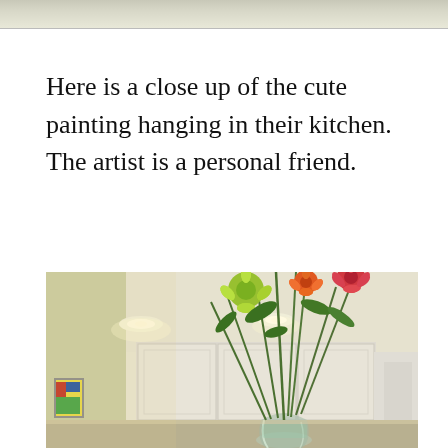[Figure (photo): Top strip of a photo — appears to be the top edge of an image, showing a muted gray-tan background.]
Here is a close up of the cute painting hanging in their kitchen. The artist is a personal friend.
[Figure (photo): A kitchen interior photo showing a glass vase with a large colorful flower arrangement (sunflowers, red and orange flowers, green leaves) on a counter, with white kitchen cabinets and recessed lighting in the background. A small colorful painting is visible on the left wall.]